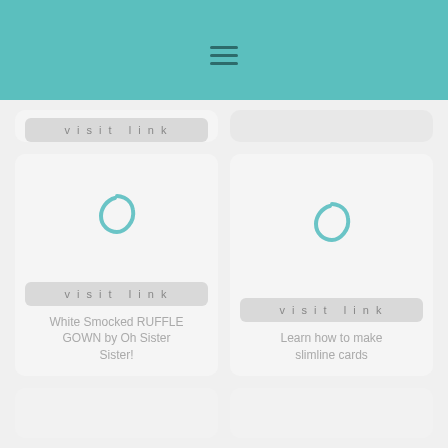Navigation menu icon
[Figure (screenshot): Knitted fabric thumbnail image for card 1]
visit link
Meine Wetterdecke für 2020 – Mai
visit link
How To Freeze Blueberries
[Figure (illustration): Loading spinner icon for card 3 (White Smocked RUFFLE GOWN)]
visit link
White Smocked RUFFLE GOWN by Oh Sister Sister!
[Figure (illustration): Loading spinner icon for card 4 (Learn how to make slimline cards)]
visit link
Learn how to make slimline cards